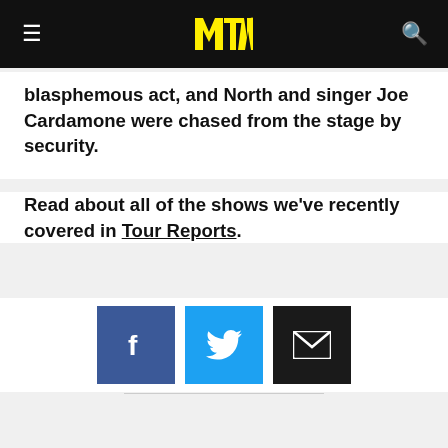MTV [logo]
blasphemous act, and North and singer Joe Cardamone were chased from the stage by security.
Read about all of the shows we've recently covered in Tour Reports.
[Figure (infographic): Social sharing buttons: Facebook (blue), Twitter (light blue), Email (dark/black)]